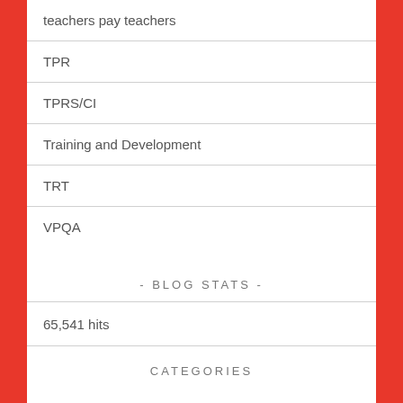teachers pay teachers
TPR
TPRS/CI
Training and Development
TRT
VPQA
- BLOG STATS -
65,541 hits
CATEGORIES